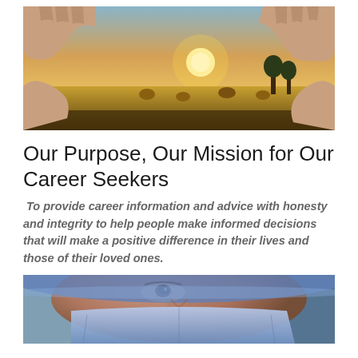[Figure (photo): Hands forming a frame/rectangle with fingers against a sunset landscape with golden fields and hay bales]
Our Purpose, Our Mission for Our Career Seekers
To provide career information and advice with honesty and integrity to help people make informed decisions that will make a positive difference in their lives and those of their loved ones.
[Figure (photo): Close-up of a healthcare worker wearing a surgical mask and blue cap, looking upward]